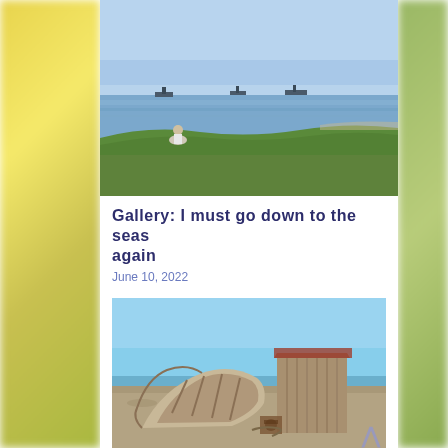[Figure (photo): Person sitting on grassy bank overlooking a calm sea with cargo ships on the horizon, blue sky above]
Gallery: I must go down to the seas again
June 10, 2022
[Figure (photo): Abandoned wooden boat and weathered wooden shed on a shingle beach with blue sky background]